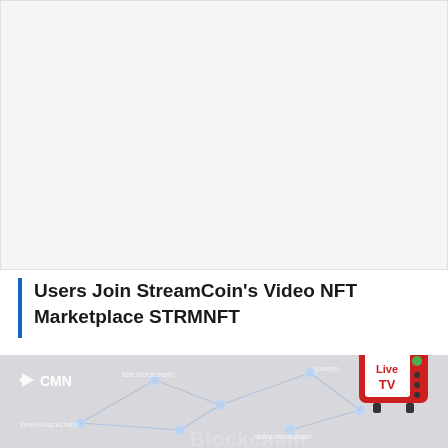[Figure (other): Advertisement or placeholder image area (gray box)]
Users Join StreamCoin's Video NFT Marketplace STRMNFT
[Figure (illustration): Blockchain network node diagram with CMN logo and Live TV badge overlay, showing node labels: liza.blockchain, joseph, kevin.blockchain, dezy.blockchain, and a Blockchain watermark text at the bottom.]